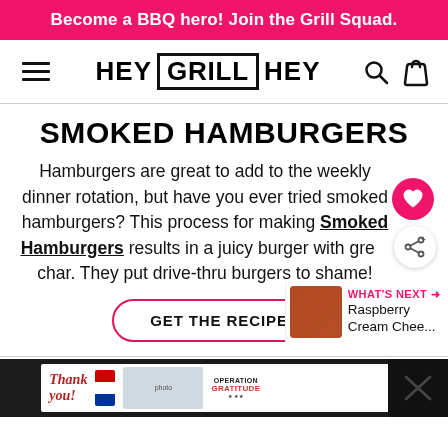Become a BBQ hero! Join the Grill Squad.
[Figure (logo): Hey Grill Hey logo with navigation: hamburger menu icon on left, HEY GRILL HEY logo center with boxed letters GRILL, search and cart icons on right]
SMOKED HAMBURGERS
Hamburgers are great to add to the weekly dinner rotation, but have you ever tried smoked hamburgers? This process for making Smoked Hamburgers results in a juicy burger with great char. They put drive-thru burgers to shame!
GET THE RECIPE
WHAT'S NEXT → Raspberry Cream Chee...
[Figure (photo): Advertisement banner showing Operation Gratitude campaign with thank you message and healthcare workers]